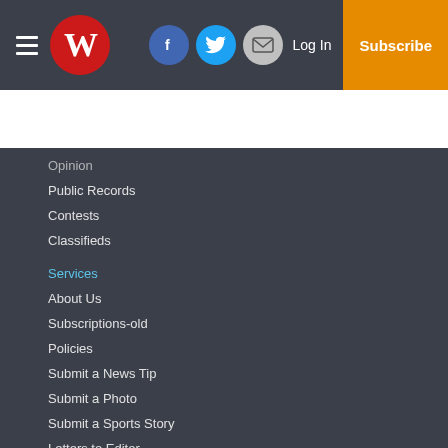Winchester Sun — Log In | Subscribe
Opinion
Public Records
Contests
Classifieds
Services
About Us
Subscriptions-old
Policies
Submit a News Tip
Submit a Photo
Submit a Sports Story
Letters to Editor
Copyright
© 2022, Winchester Sun